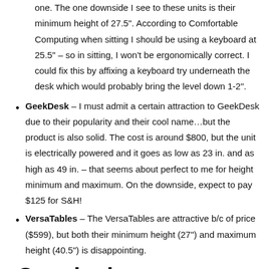one. The one downside I see to these units is their minimum height of 27.5". According to Comfortable Computing when sitting I should be using a keyboard at 25.5" – so in sitting, I won't be ergonomically correct. I could fix this by affixing a keyboard try underneath the desk which would probably bring the level down 1-2".
GeekDesk – I must admit a certain attraction to GeekDesk due to their popularity and their cool name…but the product is also solid. The cost is around $800, but the unit is electrically powered and it goes as low as 23 in. and as high as 49 in. – that seems about perfect to me for height minimum and maximum. On the downside, expect to pay $125 for S&H!
VersaTables – The VersaTables are attractive b/c of price ($599), but both their minimum height (27") and maximum height (40.5") is disappointing.
Conclusion